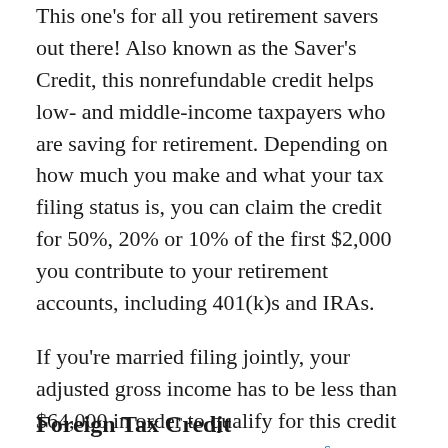This one's for all you retirement savers out there! Also known as the Saver's Credit, this nonrefundable credit helps low- and middle-income taxpayers who are saving for retirement. Depending on how much you make and what your tax filing status is, you can claim the credit for 50%, 20% or 10% of the first $2,000 you contribute to your retirement accounts, including 401(k)s and IRAs.
If you're married filing jointly, your adjusted gross income has to be less than $64,000 in order to qualify for this credit (for singles, it's $32,000 or less).6
Foreign Tax Credit